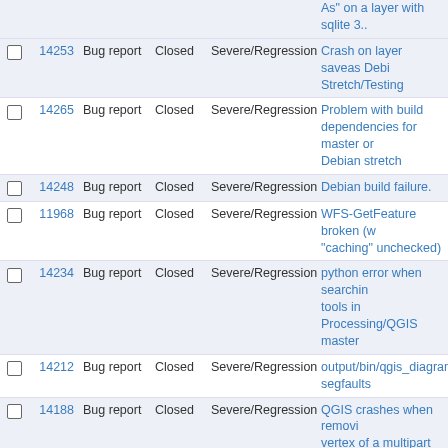|  | ID | Type | Status | Severity | Title |
| --- | --- | --- | --- | --- | --- |
| ☐ | 14253 | Bug report | Closed | Severe/Regression | Crash on layer saveas Debian Stretch/Testing |
| ☐ | 14265 | Bug report | Closed | Severe/Regression | Problem with build dependencies for master on Debian stretch |
| ☐ | 14248 | Bug report | Closed | Severe/Regression | Debian build failure. |
| ☐ | 11968 | Bug report | Closed | Severe/Regression | WFS-GetFeature broken (with "caching" unchecked) |
| ☐ | 14234 | Bug report | Closed | Severe/Regression | python error when searching tools in Processing/QGIS master |
| ☐ | 14212 | Bug report | Closed | Severe/Regression | output/bin/qgis_diagramtest segfaults |
| ☐ | 14188 | Bug report | Closed | Severe/Regression | QGIS crashes when removing vertex of a multipart geometry |
| ☐ | 14029 | Bug report | Closed | Severe/Regression | Server crash upon first read a project |
| ☐ | 7258 | Bug report | Closed | Severe/Regression | GetFeatureInfo request with FILTER doesn't find anything |
| ☐ | 13117 | Bug report | Closed | Severe/Regression | cached wfs not downloading new features while panning |
| ☐ | 13985 | Bug report | Closed | Severe/Regression | Merge Vector Layer: Attribute values are wrongly assigning that attribute is not exists in of input vector layer. |
| ☐ | 14115 | Bug report | Closed | Severe/Regression | Processing: GDAL Proximity incorrect result if "Values" is filled |
| ☐ | 13167 | Bug report | Closed | Severe/Regression | ftools dissolve, intersection, broken |